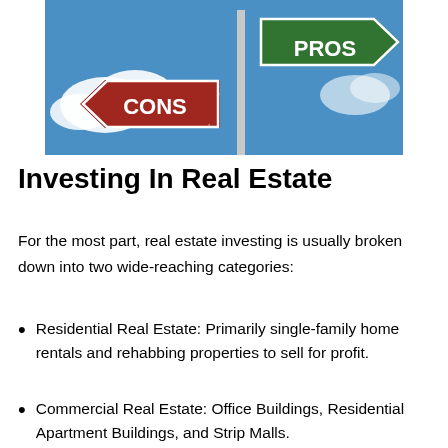[Figure (illustration): Road signs pointing in opposite directions: a green arrow sign pointing right labeled 'PROS' and a red arrow sign pointing left labeled 'CONS', mounted on a metal pole against a blue sky with clouds.]
Investing In Real Estate
For the most part, real estate investing is usually broken down into two wide-reaching categories:
Residential Real Estate: Primarily single-family home rentals and rehabbing properties to sell for profit.
Commercial Real Estate: Office Buildings, Residential Apartment Buildings, and Strip Malls.